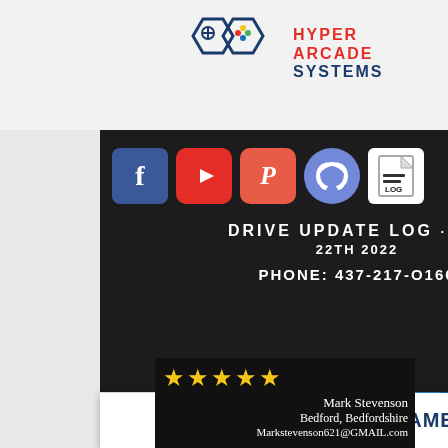[Figure (logo): Hyper Arcade Systems logo with hexagon game controller icons and red text reading HYPER ARCADE SYSTEMS]
[Figure (infographic): Social media icons row: Facebook (blue f), YouTube (red play), Patreon (red P), Discord (blue cloud), and a white LOG document icon]
DRIVE UPDATE LOG - AUG 22TH 2022
PHONE: 437-217-O166
PLAY YOUR GAMES
Recommended
[Figure (other): 4 yellow stars rating]
Mark Stevenson
Bedford, Bedfordshire
Markstevenson621@GMAIL.com